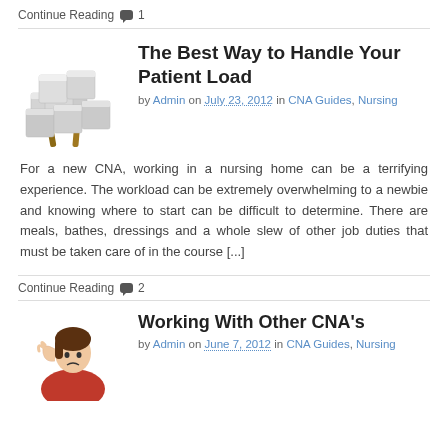Continue Reading 🗨 1
The Best Way to Handle Your Patient Load
by Admin on July 23, 2012 in CNA Guides, Nursing
For a new CNA, working in a nursing home can be a terrifying experience. The workload can be extremely overwhelming to a newbie and knowing where to start can be difficult to determine. There are meals, bathes, dressings and a whole slew of other job duties that must be taken care of in the course [...]
Continue Reading 🗨 2
Working With Other CNA's
by Admin on June 7, 2012 in CNA Guides, Nursing